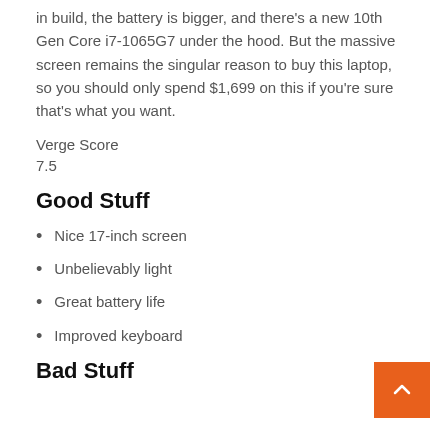in build, the battery is bigger, and there's a new 10th Gen Core i7-1065G7 under the hood. But the massive screen remains the singular reason to buy this laptop, so you should only spend $1,699 on this if you're sure that's what you want.
Verge Score
7.5
Good Stuff
Nice 17-inch screen
Unbelievably light
Great battery life
Improved keyboard
Bad Stuff